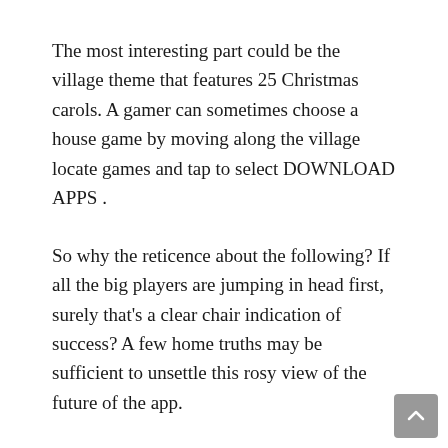The most interesting part could be the village theme that features 25 Christmas carols. A gamer can sometimes choose a house game by moving along the village locate games and tap to select DOWNLOAD APPS .
So why the reticence about the following? If all the big players are jumping in head first, surely that's a clear chair indication of success? A few home truths may be sufficient to unsettle this rosy view of the future of the app.
Pandora Car radio. This internet radio app allows to be able to create extremely radio stations instantly by analyzing the artist you settle on. You can add till 100 of these, the actual restriction which you can not skip...